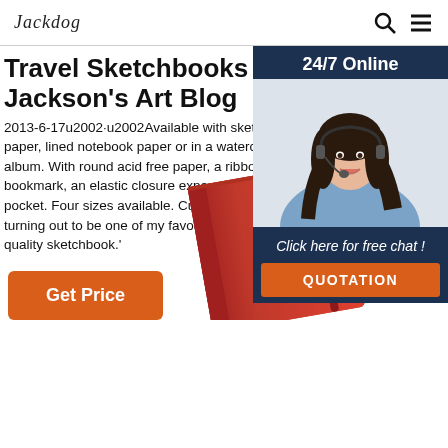Jackdog [logo] | search icon | menu icon
Travel Sketchbooks - Jackson's Art Blog
2013-6-17u2002·u2002Available with sketchbook paper, lined notebook paper or in a watercolour album. With round acid free paper, a ribbon bookmark, an elastic closure expandable inner pocket. Four sizes available. Custo 'Love it, it's turning out to be one of my favourites, a w high quality sketchbook.'
Get Price
[Figure (photo): Chat widget showing woman with headset, 24/7 Online label, Click here for free chat text, and QUOTATION button]
[Figure (photo): Red sketchbook/notebook partially visible at bottom center of page]